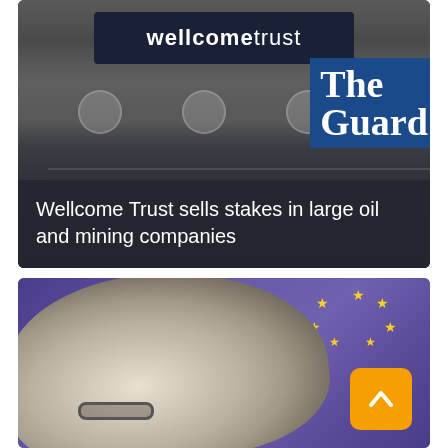[Figure (photo): Photo of Wellcome Trust building signage (dark background with 'wellcome trust' sign) with The Guardian logo overlay in blue. Overlay at bottom shows headline text on dark semi-transparent background.]
Wellcome Trust sells stakes in large oil and mining companies
[Figure (photo): Photo of a person with grey/white hair viewed from behind, with a European Union flag (blue with yellow stars) in the background. An orange scroll-to-top button is visible in the bottom right.]